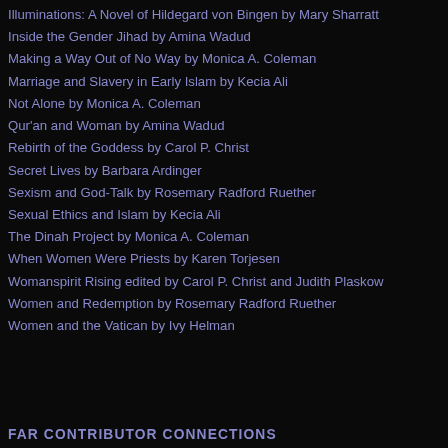Illuminations: A Novel of Hildegard von Bingen by Mary Sharratt
Inside the Gender Jihad by Amina Wadud
Making a Way Out of No Way by Monica A. Coleman
Marriage and Slavery in Early Islam by Kecia Ali
Not Alone by Monica A. Coleman
Qur'an and Woman by Amina Wadud
Rebirth of the Goddess by Carol P. Christ
Secret Lives by Barbara Ardinger
Sexism and God-Talk by Rosemary Radford Ruether
Sexual Ethics and Islam by Kecia Ali
The Dinah Project by Monica A. Coleman
When Women Were Priests by Karen Torjesen
Womanspirit Rising edited by Carol P. Christ and Judith Plaskow
Women and Redemption by Rosemary Radford Ruether
Women and the Vatican by Ivy Helman
FAR CONTRIBUTOR CONNECTIONS